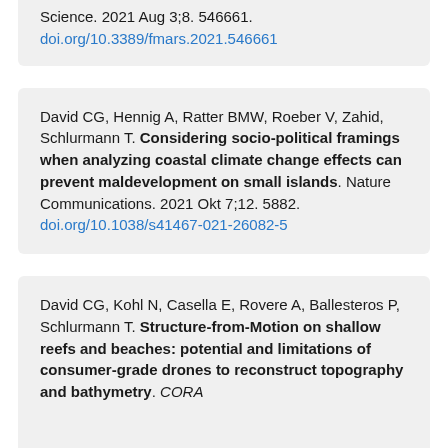Science. 2021 Aug 3;8. 546661. doi.org/10.3389/fmars.2021.546661
David CG, Hennig A, Ratter BMW, Roeber V, Zahid, Schlurmann T. Considering socio-political framings when analyzing coastal climate change effects can prevent maldevelopment on small islands. Nature Communications. 2021 Okt 7;12. 5882. doi.org/10.1038/s41467-021-26082-5
David CG, Kohl N, Casella E, Rovere A, Ballesteros P, Schlurmann T. Structure-from-Motion on shallow reefs and beaches: potential and limitations of consumer-grade drones to reconstruct topography and bathymetry. CORAL